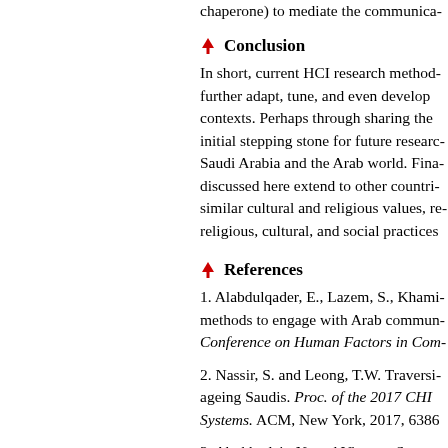chaperone) to mediate the communica-
Conclusion
In short, current HCI research method- further adapt, tune, and even develop contexts. Perhaps through sharing the initial stepping stone for future researc- Saudi Arabia and the Arab world. Fina- discussed here extend to other countri- similar cultural and religious values, re- religious, cultural, and social practices
References
1. Alabdulqader, E., Lazem, S., Khami- methods to engage with Arab commun- Conference on Human Factors in Com-
2. Nassir, S. and Leong, T.W. Traversi- ageing Saudis. Proc. of the 2017 CHI Systems. ACM, New York, 2017, 6386
3. Abokhodair, N. and Vieweg, S. Priva- Proc. of the 2016 ACM Conference on 2016, 672–683.
4. Al-...